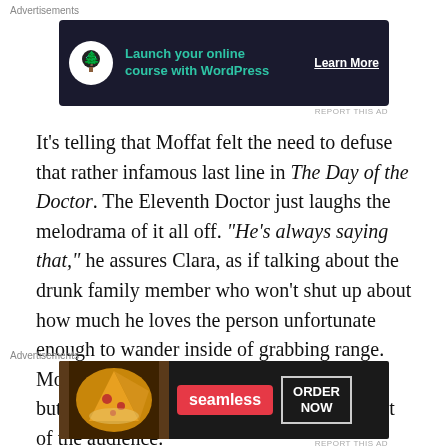[Figure (other): Advertisement banner: dark background with tree/bonsai icon, green text 'Launch your online course with WordPress', white 'Learn More' button]
It’s telling that Moffat felt the need to defuse that rather infamous last line in The Day of the Doctor. The Eleventh Doctor just laughs the melodrama of it all off. “He’s always saying that,” he assures Clara, as if talking about the drunk family member who won’t shut up about how much he loves the person unfortunate enough to wander inside of grabbing range. Moffat clearly doesn’t begrudge the remark, but he seems to find it just as bizarre as most of the audience.
It’s excessively indulgent, quite like the extending closing
[Figure (other): Advertisement banner: Seamless food delivery. Pizza image on left, red Seamless logo badge in center, ORDER NOW button on right, dark background.]